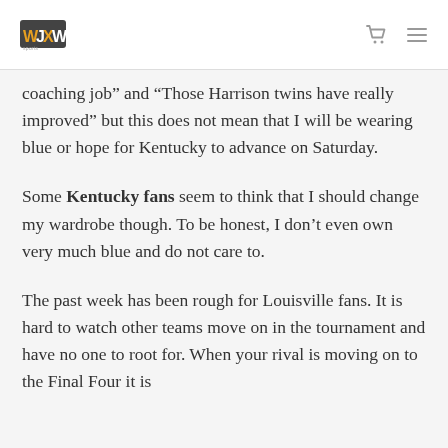WJXW logo, cart icon, menu icon
coaching job” and “Those Harrison twins have really improved” but this does not mean that I will be wearing blue or hope for Kentucky to advance on Saturday.
Some Kentucky fans seem to think that I should change my wardrobe though. To be honest, I don’t even own very much blue and do not care to.
The past week has been rough for Louisville fans. It is hard to watch other teams move on in the tournament and have no one to root for. When your rival is moving on to the Final Four it is